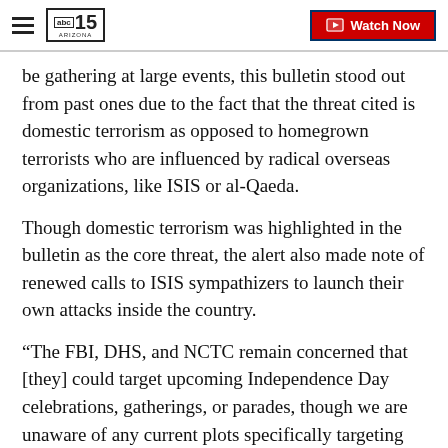abc15 ARIZONA — Watch Now
be gathering at large events, this bulletin stood out from past ones due to the fact that the threat cited is domestic terrorism as opposed to homegrown terrorists who are influenced by radical overseas organizations, like ISIS or al-Qaeda.
Though domestic terrorism was highlighted in the bulletin as the core threat, the alert also made note of renewed calls to ISIS sympathizers to launch their own attacks inside the country.
“The FBI, DHS, and NCTC remain concerned that [they] could target upcoming Independence Day celebrations, gatherings, or parades, though we are unaware of any current plots specifically targeting such